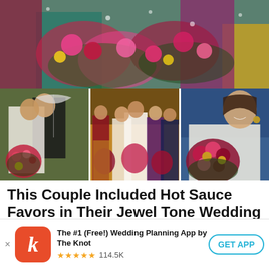[Figure (photo): Wedding photo collage: top wide photo showing bridesmaids holding colorful jewel-tone floral bouquets in various colored dresses (teal, burgundy, gold). Bottom row of three photos: left shows bride and groom kissing with bouquet, center shows bride with bridesmaids in colorful dresses holding bouquets, right shows close-up of bride holding large floral bouquet.]
This Couple Included Hot Sauce Favors in Their Jewel Tone Wedding
[Figure (logo): The Knot app advertisement banner: orange/red rounded square icon with italic white 'k', text 'The #1 (Free!) Wedding Planning App by The Knot', five gold stars rating, '114.5K' reviews, 'GET APP' button with teal border.]